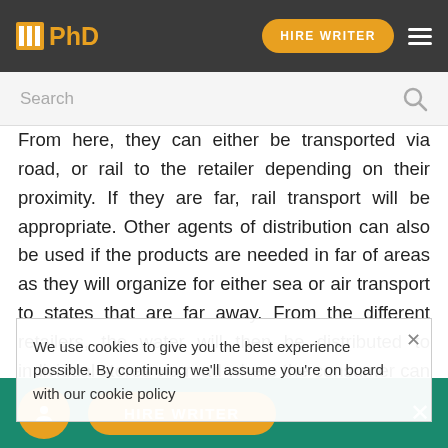IPhD | HIRE WRITER
Search
From here, they can either be transported via road, or rail to the retailer depending on their proximity. If they are far, rail transport will be appropriate. Other agents of distribution can also be used if the products are needed in far of areas as they will organize for either sea or air transport to states that are far away. From the different retailers, the water will then be distributed to individual stores via road where the consumer can pur... deliveries can be made if orders are made
We use cookies to give you the best experience possible. By continuing we'll assume you're on board with our cookie policy
Logistics' challenges The Dasani Company aims at increasing its profits and to do this it has to attract